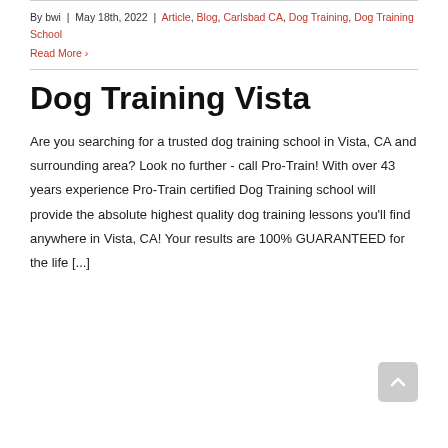By bwi | May 18th, 2022 | Article, Blog, Carlsbad CA, Dog Training, Dog Training School
Read More >
Dog Training Vista
Are you searching for a trusted dog training school in Vista, CA and surrounding area? Look no further - call Pro-Train! With over 43 years experience Pro-Train certified Dog Training school will provide the absolute highest quality dog training lessons you'll find anywhere in Vista, CA! Your results are 100% GUARANTEED for the life [...]